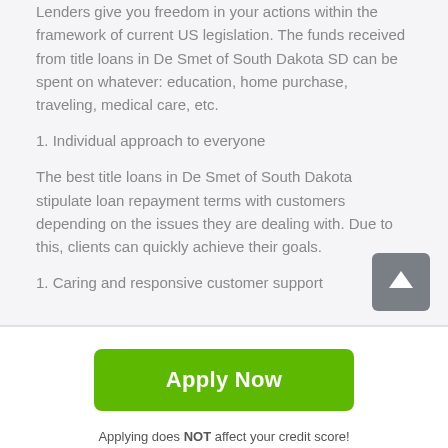Lenders give you freedom in your actions within the framework of current US legislation. The funds received from title loans in De Smet of South Dakota SD can be spent on whatever: education, home purchase, traveling, medical care, etc.
1. Individual approach to everyone
The best title loans in De Smet of South Dakota stipulate loan repayment terms with customers depending on the issues they are dealing with. Due to this, clients can quickly achieve their goals.
1. Caring and responsive customer support
Apply Now
Applying does NOT affect your credit score!
No credit check to apply.